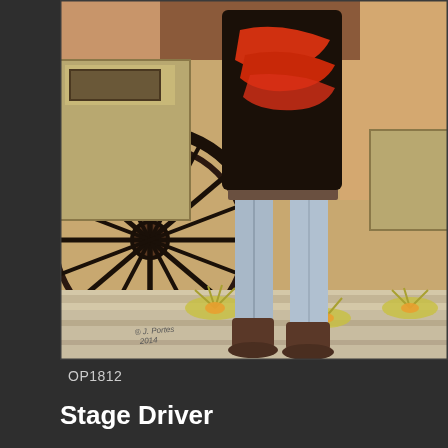[Figure (illustration): A painting of a stage driver standing next to a stagecoach wheel. The figure wears a dark jacket with red accents, light blue/grey pants, and brown boots. Desert vegetation (yucca plants) is visible on the ground. A signature and '2014' is visible in the lower left. The background shows canyon/desert scenery.]
OP1812
Stage Driver